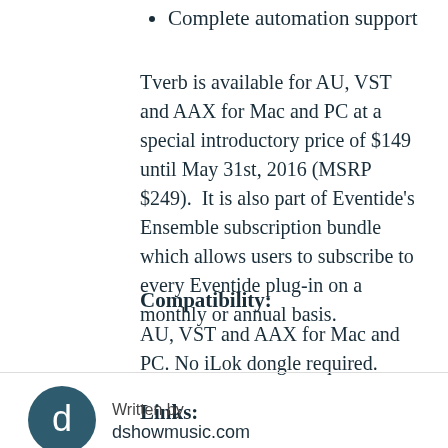Complete automation support
Tverb is available for AU, VST and AAX for Mac and PC at a special introductory price of $149 until May 31st, 2016 (MSRP $249).  It is also part of Eventide’s Ensemble subscription bundle which allows users to subscribe to every Eventide plug-in on a monthly or annual basis.
Compatibility:
AU, VST and AAX for Mac and PC. No iLok dongle required.
Links:
Tverb Product Page:
Written by
dshowmusic.com